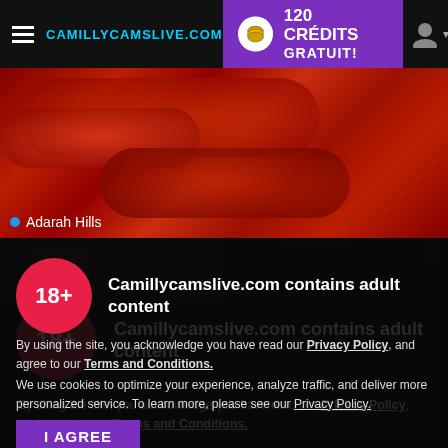[Figure (screenshot): Website header bar for camillycamslive.com with hamburger menu, logo text in cyan, and a purple promotional banner showing '120 CRÉDITS GRATUIT!' with a coin icon and user profile icon]
[Figure (photo): Background photo of a person in red fabric/clothing, blurred/cropped]
Adarah Hills
[Figure (screenshot): Two webcam thumbnail previews side by side, left one labeled NEW showing a woman, right one showing a dark figure]
Camillycamslive.com contains adult content
By using the site, you acknowledge you have read our Privacy Policy, and agree to our Terms and Conditions.
We use cookies to optimize your experience, analyze traffic, and deliver more personalized service. To learn more, please see our Privacy Policy.
I AGREE